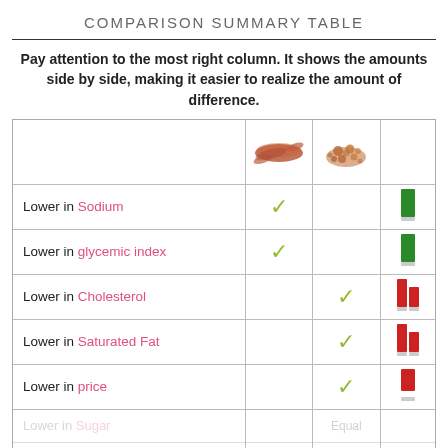COMPARISON SUMMARY TABLE
Pay attention to the most right column. It shows the amounts side by side, making it easier to realize the amount of difference.
|  | Food 1 (sausage) | Food 2 (grains) | Bar |
| --- | --- | --- | --- |
| Lower in Sodium | ✓ |  | green bar |
| Lower in glycemic index | ✓ |  | green bar |
| Lower in Cholesterol |  | ✓ | red bar |
| Lower in Saturated Fat |  | ✓ | red bar |
| Lower in price |  | ✓ | red bar |
| Lower in Sugar |  | Equal |  |
| Rich in minerals |  | Equal |  |